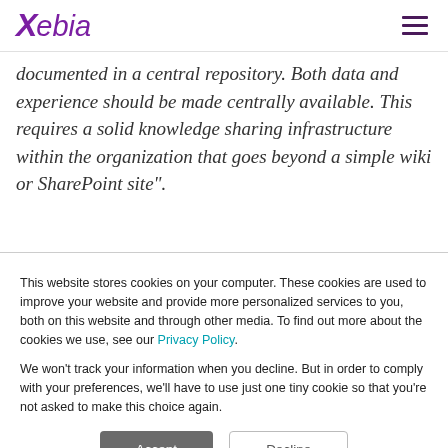Xebia
documented in a central repository. Both data and experience should be made centrally available. This requires a solid knowledge sharing infrastructure within the organization that goes beyond a simple wiki or SharePoint site".
This website stores cookies on your computer. These cookies are used to improve your website and provide more personalized services to you, both on this website and through other media. To find out more about the cookies we use, see our Privacy Policy. We won't track your information when you decline. But in order to comply with your preferences, we'll have to use just one tiny cookie so that you're not asked to make this choice again.